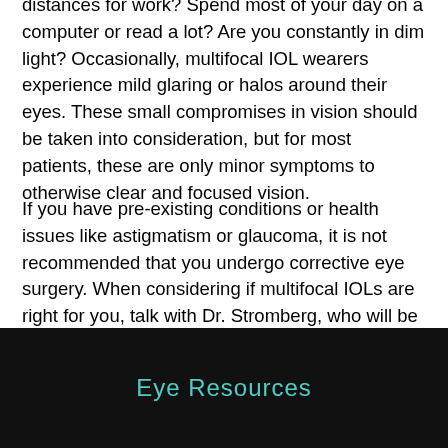distances for work? Spend most of your day on a computer or read a lot? Are you constantly in dim light? Occasionally, multifocal IOL wearers experience mild glaring or halos around their eyes. These small compromises in vision should be taken into consideration, but for most patients, these are only minor symptoms to otherwise clear and focused vision.
If you have pre-existing conditions or health issues like astigmatism or glaucoma, it is not recommended that you undergo corrective eye surgery. When considering if multifocal IOLs are right for you, talk with Dr. Stromberg, who will be able to assess your eye health, health history, and any current or future precautions.
Eye Resources